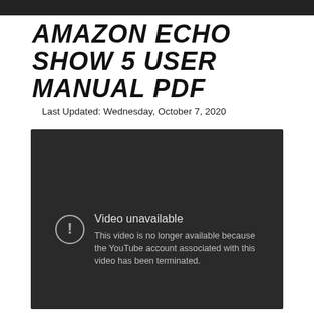AMAZON ECHO SHOW 5 USER MANUAL PDF
Last Updated: Wednesday, October 7, 2020
[Figure (screenshot): Embedded YouTube video player showing a 'Video unavailable' error message. Dark background with a warning circle icon and text: 'Video unavailable. This video is no longer available because the YouTube account associated with this video has been terminated.']